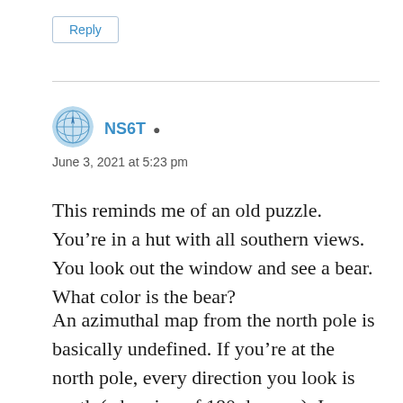Reply
[Figure (illustration): Avatar icon — circular badge with a globe/compass illustration in light blue tones]
NS6T
June 3, 2021 at 5:23 pm
This reminds me of an old puzzle. You're in a hut with all southern views. You look out the window and see a bear. What color is the bear?
An azimuthal map from the north pole is basically undefined. If you're at the north pole, every direction you look is south (a bearing of 180 degrees). In some respects, I suppose the map should collapse into a line